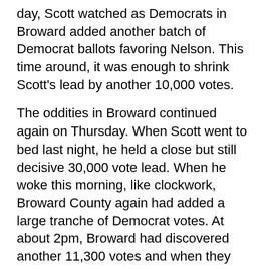day, Scott watched as Democrats in Broward added another batch of Democrat ballots favoring Nelson. This time around, it was enough to shrink Scott's lead by another 10,000 votes.
The oddities in Broward continued again on Thursday. When Scott went to bed last night, he held a close but still decisive 30,000 vote lead. When he woke this morning, like clockwork, Broward County again had added a large tranche of Democrat votes. At about 2pm, Broward had discovered another 11,300 votes and when they were counted, they broke roughly 70-30 percent for Democrats. As of tonight (updated at 8pm), Scott leads Bill Nelson by just 22,000 17,344 15,092 15,079 votes, requiring a mandatory hand recount.
Those new votes also reduced Governor-elect Ron DeSantis's margin of victory to just 38,515 36,223 votes, or 0.47 0.44 percentage points (as of 8pm Thursday) based on the